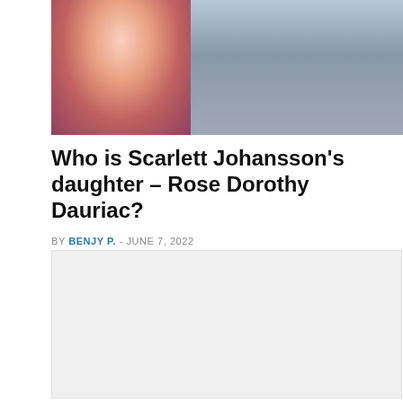[Figure (photo): Two photos side by side: left shows a woman in a pink dress smiling at what appears to be a red carpet event; right shows a person in jeans and jacket walking with a small child in a red outfit.]
Who is Scarlett Johansson's daughter – Rose Dorothy Dauriac?
BY BENJY P. - JUNE 7, 2022